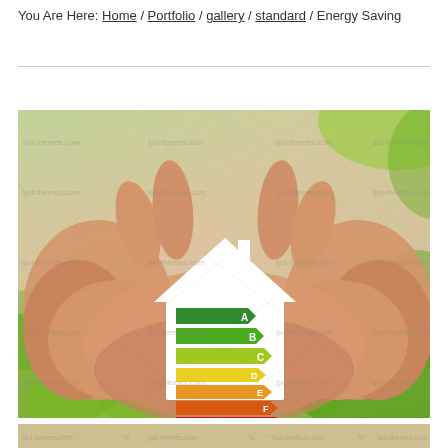You Are Here: Home / Portfolio / gallery / standard / Energy Saving
[Figure (photo): Hands cupping a white paper house model displaying an energy efficiency rating chart with colored arrow bars labeled A (dark green) through G (red), set against a blurred green background. Watermark text 'lpd-themes.com' repeated across the image.]
[Figure (photo): Partial bottom strip showing another similar stock photo with watermark text 'lpd-themes.com'.]